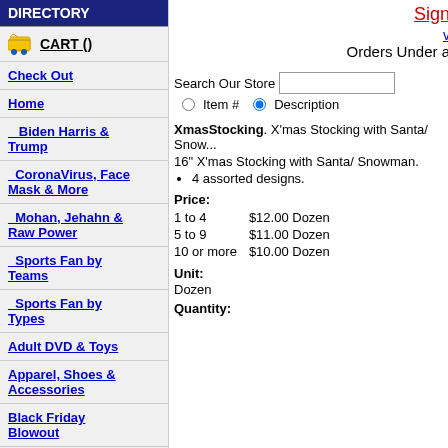DIRECTORY
CART ()
Check Out
Home
Biden Harris & Trump
CoronaVirus, Face Mask & More
Mohan, Jehahn & Raw Power
Sports Fan by Teams
Sports Fan by Types
Adult DVD & Toys
Apparel, Shoes & Accessories
Black Friday Blowout
Black History
Clearance Sale: 40% OFF
Contact Us
Sign
v
Orders Under a
Search Our Store
Item #  Description
XmasStocking. X'mas Stocking with Santa/ Snowman.
16" X'mas Stocking with Santa/ Snowman.
4 assorted designs.
Price:
| Qty | Price |
| --- | --- |
| 1 to 4 | $12.00 Dozen |
| 5 to 9 | $11.00 Dozen |
| 10 or more | $10.00 Dozen |
Unit:
Dozen
Quantity: